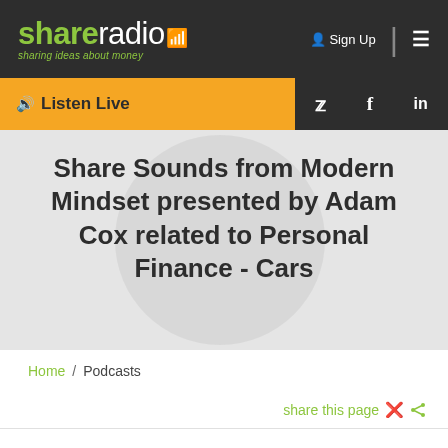shareradio — sharing ideas about money | Sign Up
Listen Live
Share Sounds from Modern Mindset presented by Adam Cox related to Personal Finance - Cars
Home / Podcasts
share this page